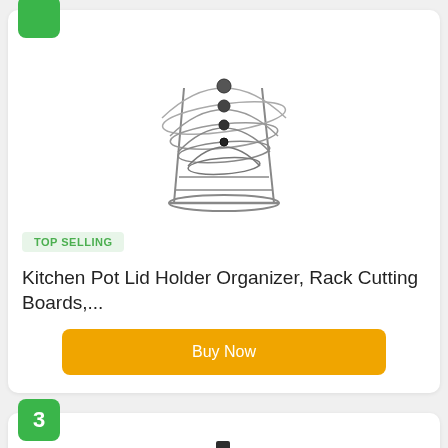[Figure (photo): Product photo of a pot lid holder organizer rack, showing several round lids arranged in a wire rack, pencil sketch/line art style]
TOP SELLING
Kitchen Pot Lid Holder Organizer, Rack Cutting Boards,...
Buy Now
3
[Figure (photo): Product photo of a multi-tier pot and pan organizer rack with teal/blue cookware on multiple shelves]